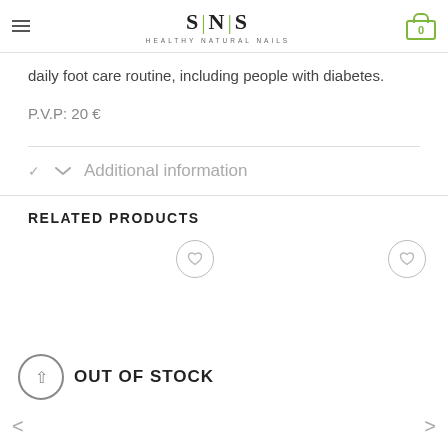SNS HEALTHY NATURAL NAILS
dry skin.
This product is recommended as part of a general daily foot care routine, including people with diabetes.
P.V.P: 20 €
Additional information
RELATED PRODUCTS
[Figure (other): Two product placeholder cards with heart/wishlist buttons]
OUT OF STOCK